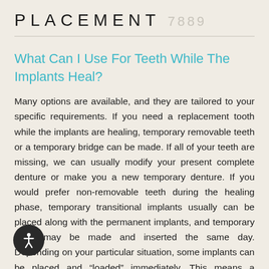PLACEMENT 7889
What Can I Use For Teeth While The Implants Heal?
Many options are available, and they are tailored to your specific requirements. If you need a replacement tooth while the implants are healing, temporary removable teeth or a temporary bridge can be made. If all of your teeth are missing, we can usually modify your present complete denture or make you a new temporary denture. If you would prefer non-removable teeth during the healing phase, temporary transitional implants usually can be placed along with the permanent implants, and temporary teeth may be made and inserted the same day. Depending on your particular situation, some implants can be placed and "loaded" immediately. This means a temporary or